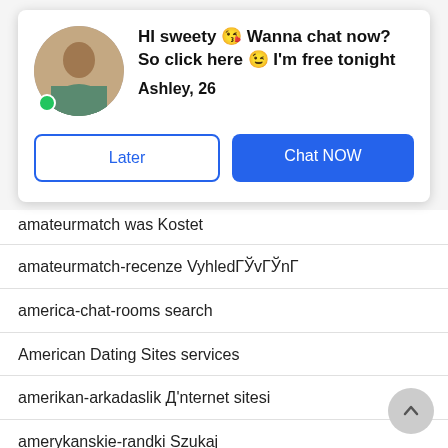[Figure (screenshot): Chat popup overlay with profile photo of a woman, online indicator, headline text, name, and two action buttons]
HI sweety 😘 Wanna chat now? So click here 😉 I'm free tonight
Ashley, 26
Later
Chat NOW
amateurmatch was Kostet
amateurmatch-recenze VyhledГЎvГЎnГ
america-chat-rooms search
American Dating Sites services
amerikan-arkadaslik Д'nternet sitesi
amerykanskie-randki Szukaj
amino opiniones
amino-overzicht MOBIELE SITE